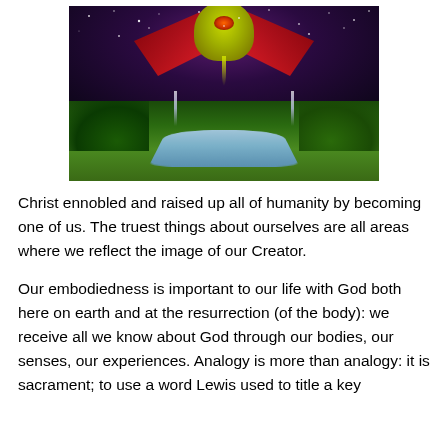[Figure (illustration): Fantasy/surreal digital illustration showing a large alien or demonic creature with yellow-green head and red wings hovering over a peaceful landscape with a river, green hills, and trees, under a purple/violet starry night sky.]
Christ ennobled and raised up all of humanity by becoming one of us. The truest things about ourselves are all areas where we reflect the image of our Creator.
Our embodiedness is important to our life with God both here on earth and at the resurrection (of the body): we receive all we know about God through our bodies, our senses, our experiences. Analogy is more than analogy: it is sacrament; to use a word Lewis used to title a key